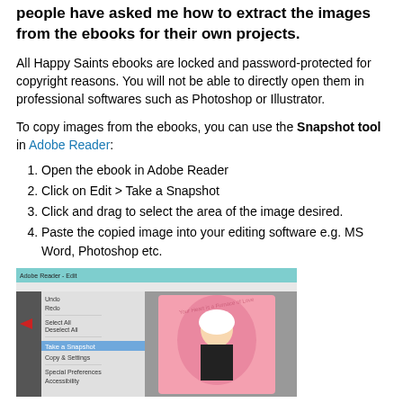people have asked me how to extract the images from the ebooks for their own projects.
All Happy Saints ebooks are locked and password-protected for copyright reasons. You will not be able to directly open them in professional softwares such as Photoshop or Illustrator.
To copy images from the ebooks, you can use the Snapshot tool in Adobe Reader:
Open the ebook in Adobe Reader
Click on Edit > Take a Snapshot
Click and drag to select the area of the image desired.
Paste the copied image into your editing software e.g. MS Word, Photoshop etc.
[Figure (screenshot): Screenshot of Adobe Reader showing the Edit menu open with 'Take a Snapshot' option highlighted, with a pink ebook page visible in the background]